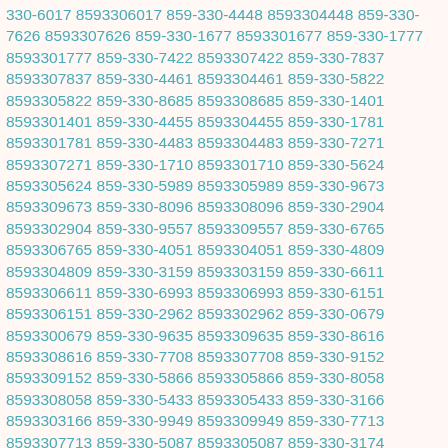330-6017 8593306017 859-330-4448 8593304448 859-330-7626 8593307626 859-330-1677 8593301677 859-330-1777 8593301777 859-330-7422 8593307422 859-330-7837 8593307837 859-330-4461 8593304461 859-330-5822 8593305822 859-330-8685 8593308685 859-330-1401 8593301401 859-330-4455 8593304455 859-330-1781 8593301781 859-330-4483 8593304483 859-330-7271 8593307271 859-330-1710 8593301710 859-330-5624 8593305624 859-330-5989 8593305989 859-330-9673 8593309673 859-330-8096 8593308096 859-330-2904 8593302904 859-330-9557 8593309557 859-330-6765 8593306765 859-330-4051 8593304051 859-330-4809 8593304809 859-330-3159 8593303159 859-330-6611 8593306611 859-330-6993 8593306993 859-330-6151 8593306151 859-330-2962 8593302962 859-330-0679 8593300679 859-330-9635 8593309635 859-330-8616 8593308616 859-330-7708 8593307708 859-330-9152 8593309152 859-330-5866 8593305866 859-330-8058 8593308058 859-330-5433 8593305433 859-330-3166 8593303166 859-330-9949 8593309949 859-330-7713 8593307713 859-330-5087 8593305087 859-330-3174 8593303174 859-330-2590 8593302590 859-330-9931 8593309931 859-330-6276 8593306276 859-330-0041 8593300041 859-330-3421 8593303421 859-330-5675 8593305675 859-330-8240 8593308240 859-330-8224 8593308224 859-330-5777 8593305777 859-330-6719 8593306719 859-330-7826 8593307826 859-330-2431 8593302431 859-330-6329 8593306329 859-330-6514 8593306514 859-330-2746 8593302746 859-330-2651 8593302651 859-330-0106 8593300106 859-330-1795 8593301795 859-330-2518 8593302518 859-330-4230 8593304230 859-330-7255 8593307255 859-330-8211 8593308211 859-330-7828 8593307828 859-330-6163 8593306163 859-330-8534